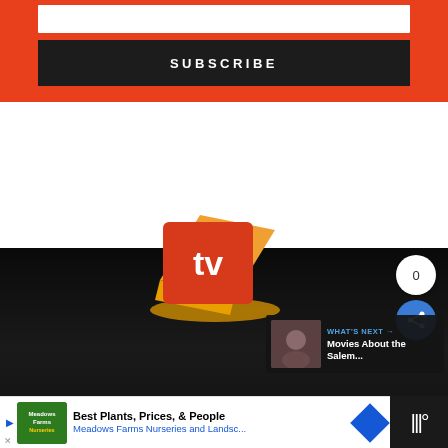[Figure (screenshot): Red subscribe banner with white input box and dark SUBSCRIBE button]
SUBSCRIBE
[Figure (logo): TV.com logo - orange and red 3D box shape with white 'tv' text]
0
[Figure (infographic): Share icon button (blue circle with share symbol)]
WHAT'S NEXT → Movies About the Salem...
TV SHOWS
Best Plants, Prices, & People
Meadows Farms Nurseries and Landsc...